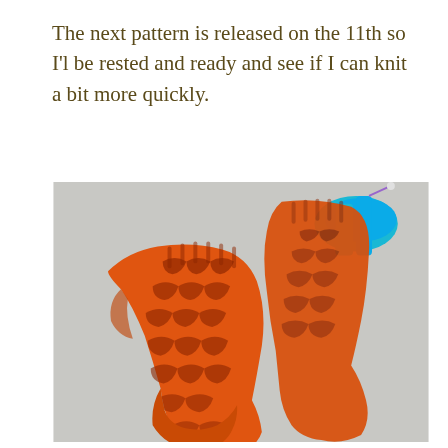The next pattern is released on the 11th so I'l be rested and ready and see if I can knit a bit more quickly.
[Figure (photo): Two orange hand-knitted lace socks with a chevron/wave lace pattern, displayed on a light grey surface. A blue yarn swift or holder is visible behind the socks.]